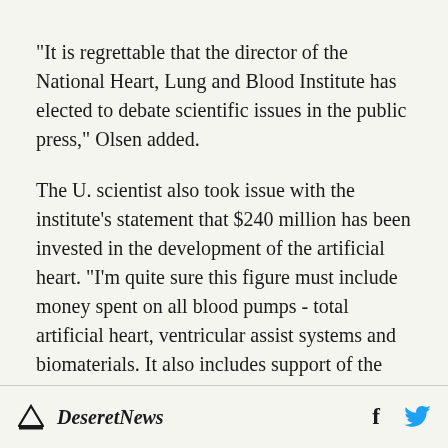"It is regrettable that the director of the National Heart, Lung and Blood Institute has elected to debate scientific issues in the public press," Olsen added.
The U. scientist also took issue with the institute's statement that $240 million has been invested in the development of the artificial heart. "I'm quite sure this figure must include money spent on all blood pumps - total artificial heart, ventricular assist systems and biomaterials. It also includes support of the development of thermal energy
Deseret News